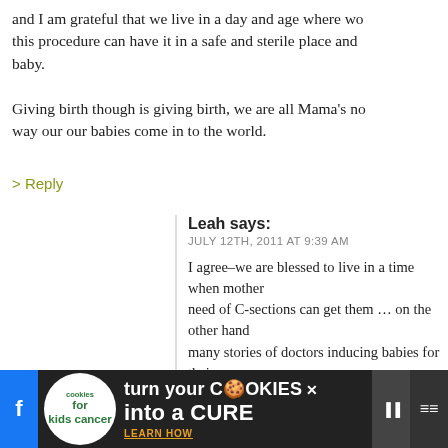and I am grateful that we live in a day and age where wo... this procedure can have it in a safe and sterile place an... baby.
Giving birth though is giving birth, we are all Mama's no... way our our babies come in to the world.
> Reply
Leah says: JULY 12TH, 2011 AT 9:39 AM
I agree–we are blessed to live in a time when mother... need of C-sections can get them ... on the other hand... many stories of doctors inducing babies for their own... with the ultimate outcome being a C-section that mi... have been unnecessary. I have a friend who tried for a... happened to be giving birth on New Year's Eve, and t... basically pushed her into having another C-section s... doctor) could leave. Having given birth unmedicated... safety first!) I would wish that experience for as man...
[Figure (infographic): Cookies for Kids' Cancer advertisement banner: 'turn your COOKIES into a CURE LEARN HOW' with logo and social media icons]